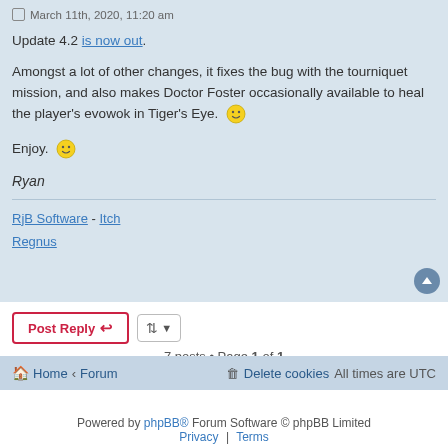March 11th, 2020, 11:20 am
Update 4.2 is now out.
Amongst a lot of other changes, it fixes the bug with the tourniquet mission, and also makes Doctor Foster occasionally available to heal the player's evowok in Tiger's Eye. 🙂
Enjoy. 🙂
Ryan
RjB Software - Itch
Regnus
Post Reply
7 posts • Page 1 of 1
Home ‹ Forum | Delete cookies | All times are UTC
Powered by phpBB® Forum Software © phpBB Limited
Privacy | Terms